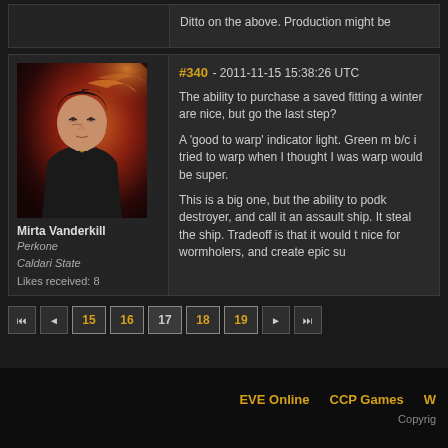Ditto on the above. Production might be
[Figure (photo): Avatar portrait of Mirta Vanderkill, a female character from EVE Online with dark hair against a fiery red/orange background]
Mirta Vanderkill
Perkone
Caldari State
Likes received: 8
#340 - 2011-11-15 15:38:26 UTC
The ability to purchase a saved fitting a winter are nice, but go the last step?

A 'good to warp' indicator light. Green m b/c i tried to warp when I thought I was warp would be super.

This is a big one, but the ability to podk destroyer, and call it an assault ship. It steal the ship. Tradeoff is that it would t nice for wormholers, and create epic su
15 16 17 18 19
EVE Online    CCP Games    W    Copyright